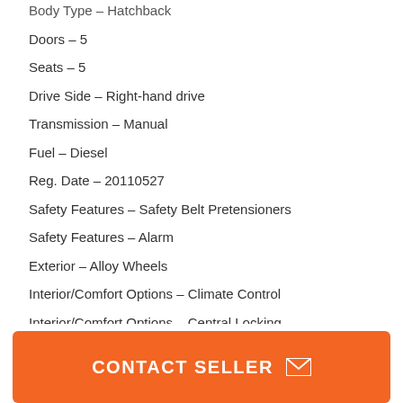Body Type – Hatchback
Doors – 5
Seats – 5
Drive Side – Right-hand drive
Transmission – Manual
Fuel – Diesel
Reg. Date – 20110527
Safety Features – Safety Belt Pretensioners
Safety Features – Alarm
Exterior – Alloy Wheels
Interior/Comfort Options – Climate Control
Interior/Comfort Options – Central Locking
Interior/Comfort Options – Cruise Control
Interior/Comfort Options – Electric Windows
CONTACT SELLER